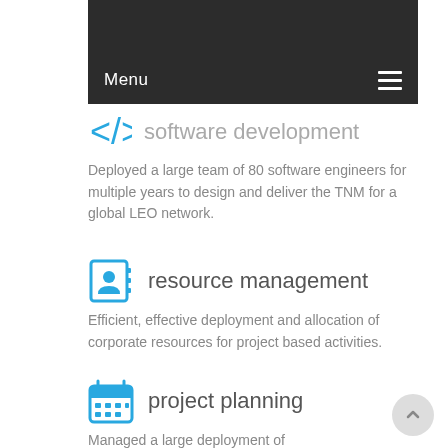Menu
software development
Deployed a large team of 80 software engineers for multiple years to design and deliver the TNM for a global LEO network.
resource management
Efficient, effective deployment and allocation of corporate resources for project based activities.
project planning
Managed a large deployment of